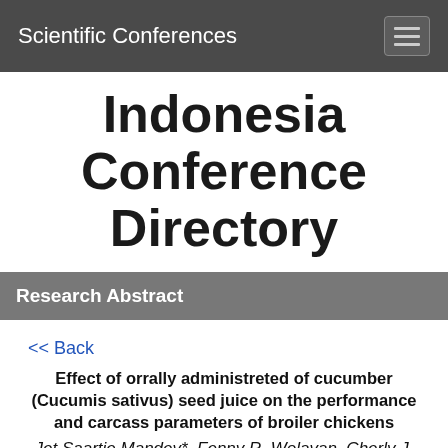Scientific Conferences
Indonesia Conference Directory
Research Abstract
<< Back
Effect of orrally administreted of cucumber (Cucumis sativus) seed juice on the performance and carcass parameters of broiler chickens
Jet Saartje Mandey*, Fenny R. Wolayan, Cherly J. Pontoh, Youdhie H.S. Kowel
Animal Nutrition Department, Animal Husbandry Faculty,